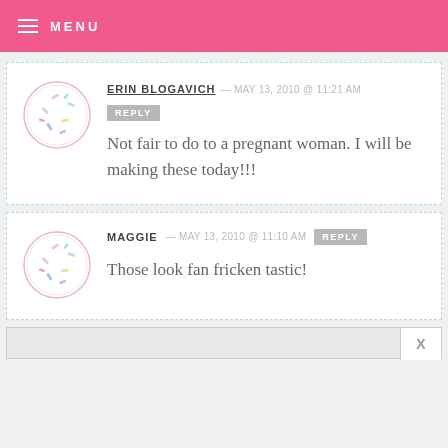MENU
ERIN BLOGAVICH — MAY 13, 2010 @ 11:21 AM
REPLY
Not fair to do to a pregnant woman. I will be making these today!!!
MAGGIE — MAY 13, 2010 @ 11:10 AM  REPLY
Those look fan fricken tastic!